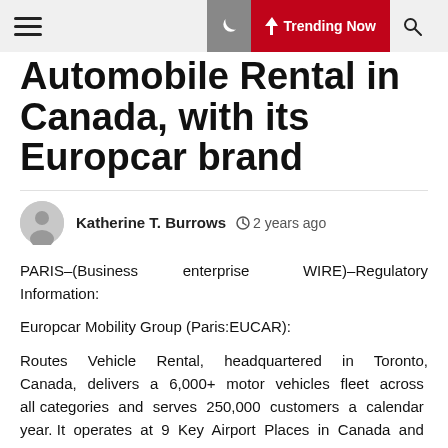Trending Now
Automobile Rental in Canada, with its Europcar brand
Katherine T. Burrows   2 years ago
PARIS–(Business enterprise WIRE)–Regulatory Information:
Europcar Mobility Group (Paris:EUCAR):
Routes Vehicle Rental, headquartered in Toronto, Canada, delivers a 6,000+ motor vehicles fleet across all categories and serves 250,000 customers a calendar year. It operates at 9 Key Airport Places in Canada and the United States with about 350 workers.